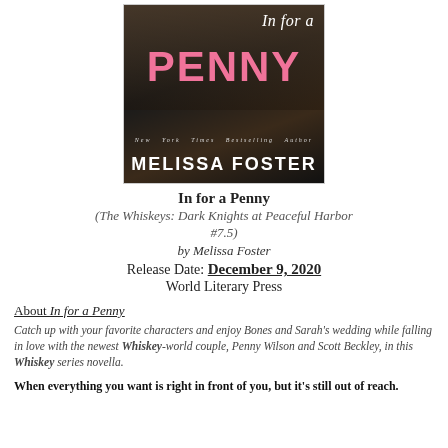[Figure (illustration): Book cover for 'In for a Penny' by Melissa Foster. Dark background showing an embracing couple. Pink large text 'PENNY' and cursive 'In for a' at top. White text 'New York Times Bestselling Author' and 'MELISSA FOSTER' at bottom of cover.]
In for a Penny
(The Whiskeys: Dark Knights at Peaceful Harbor #7.5)
by Melissa Foster
Release Date: December 9, 2020
World Literary Press
About In for a Penny
Catch up with your favorite characters and enjoy Bones and Sarah's wedding while falling in love with the newest Whiskey-world couple, Penny Wilson and Scott Beckley, in this Whiskey series novella.
When everything you want is right in front of you, but it's still out of reach.